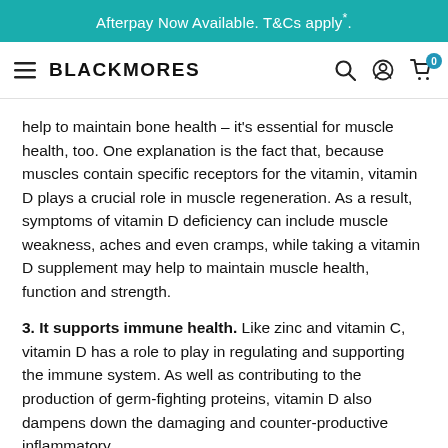Afterpay Now Available. T&Cs apply*.
[Figure (logo): Blackmores website navigation bar with hamburger menu, Blackmores logo, search icon, account icon, and cart icon with 0 badge]
help to maintain bone health – it's essential for muscle health, too. One explanation is the fact that, because muscles contain specific receptors for the vitamin, vitamin D plays a crucial role in muscle regeneration. As a result, symptoms of vitamin D deficiency can include muscle weakness, aches and even cramps, while taking a vitamin D supplement may help to maintain muscle health, function and strength.
3. It supports immune health. Like zinc and vitamin C, vitamin D has a role to play in regulating and supporting the immune system. As well as contributing to the production of germ-fighting proteins, vitamin D also dampens down the damaging and counter-productive inflammatory